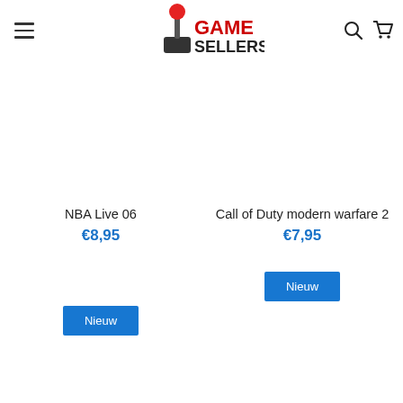[Figure (logo): GameSellers logo with joystick icon and red/black text]
NBA Live 06
€8,95
Call of Duty modern warfare 2
€7,95
Nieuw
Nieuw